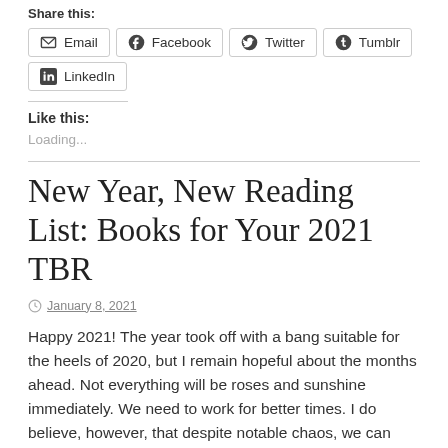Share this:
Email
Facebook
Twitter
Tumblr
LinkedIn
Like this:
Loading...
New Year, New Reading List: Books for Your 2021 TBR
January 8, 2021
Happy 2021! The year took off with a bang suitable for the heels of 2020, but I remain hopeful about the months ahead. Not everything will be roses and sunshine immediately. We need to work for better times. I do believe, however, that despite notable chaos, we can turn